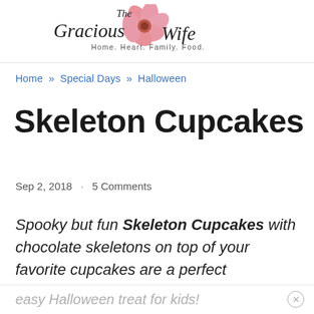The Gracious Wife — Home. Heart. Family. Food.
Home » Special Days » Halloween
Skeleton Cupcakes
Sep 2, 2018  ·  5 Comments
Spooky but fun Skeleton Cupcakes with chocolate skeletons on top of your favorite cupcakes are a perfect
easy Halloween treat for kids!